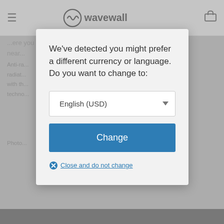[Figure (screenshot): WaveWall website screenshot showing navigation bar with hamburger menu, WaveWall logo, and cart icon, with partially visible body text about anti-radiation technology behind a modal overlay]
We've detected you might prefer a different currency or language. Do you want to change to:
English (USD)
Change
Close and do not change